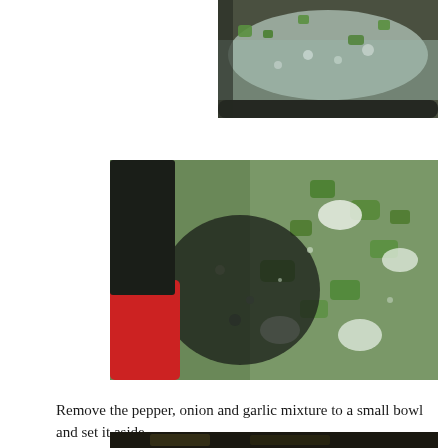[Figure (photo): Close-up photo of green peppers cooking in a pan with bubbling liquid, viewed from above with dark pan rim visible]
[Figure (photo): Close-up photo of chopped green peppers and onions sautéing in a pan, with a red spatula handle visible on the left and a dark shadow area in the center-left]
Remove the pepper, onion and garlic mixture to a small bowl and set it aside.
[Figure (photo): Partial view of another cooking photo at the bottom of the page, mostly cut off]